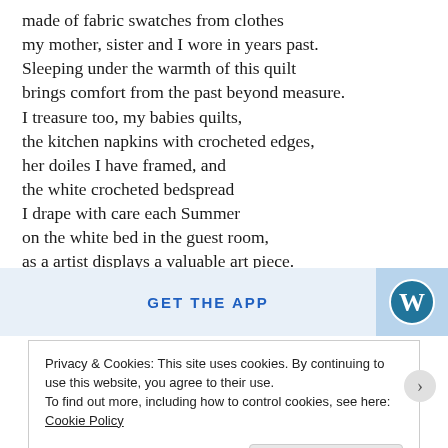made of fabric swatches from clothes my mother, sister and I wore in years past. Sleeping under the warmth of this quilt brings comfort from the past beyond measure. I treasure too, my babies quilts, the kitchen napkins with crocheted edges, her doiles I have framed, and the white crocheted bedspread I drape with care each Summer on the white bed in the guest room, as a artist displays a valuable art piece.
GET THE APP
[Figure (logo): WordPress logo — blue W in a circle on light blue background]
Privacy & Cookies: This site uses cookies. By continuing to use this website, you agree to their use. To find out more, including how to control cookies, see here: Cookie Policy
Close and accept